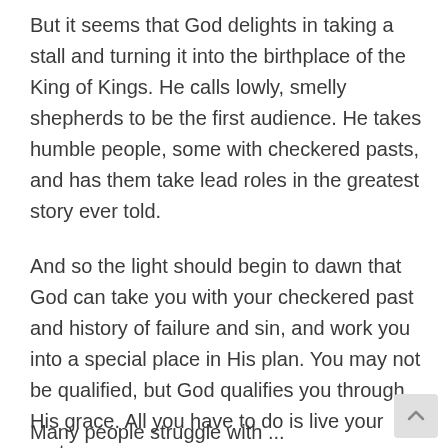But it seems that God delights in taking a stall and turning it into the birthplace of the King of Kings. He calls lowly, smelly shepherds to be the first audience. He takes humble people, some with checkered pasts, and has them take lead roles in the greatest story ever told.
And so the light should begin to dawn that God can take you with your checkered past and history of failure and sin, and work you into a special place in His plan. You may not be qualified, but God qualifies you through His grace. All you have to do is live your part.
Many people struggle with sin. Some...